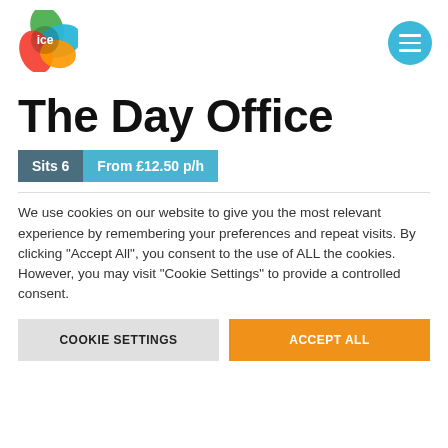[Figure (logo): ICE logo — overlapping leaf/petal shapes in green, blue, red/orange with 'ice' text in white]
[Figure (other): Circular teal hamburger/menu button with three white horizontal lines]
The Day Office
Sits 6   From £12.50 p/h
We use cookies on our website to give you the most relevant experience by remembering your preferences and repeat visits. By clicking "Accept All", you consent to the use of ALL the cookies. However, you may visit "Cookie Settings" to provide a controlled consent.
COOKIE SETTINGS   ACCEPT ALL